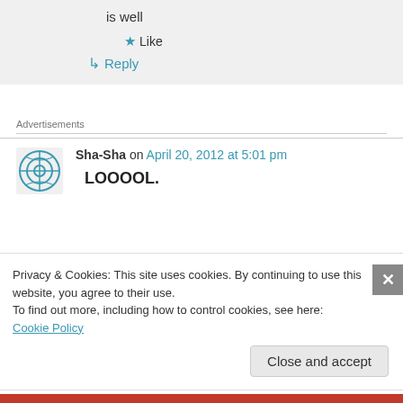is well
★ Like
↳ Reply
Advertisements
Sha-Sha on April 20, 2012 at 5:01 pm
LOOOOL.
Privacy & Cookies: This site uses cookies. By continuing to use this website, you agree to their use. To find out more, including how to control cookies, see here: Cookie Policy
Close and accept